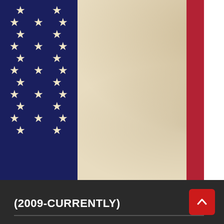[Figure (illustration): American flag-themed decorative page background: navy blue canton with white stars on the left, aged parchment/paper texture in the center, red and white vertical stripes on the right]
(2009-CURRENTLY)